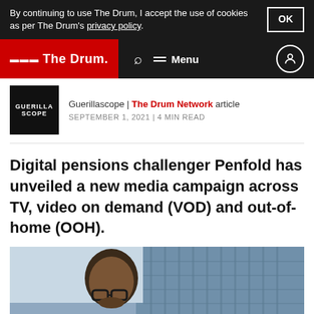By continuing to use The Drum, I accept the use of cookies as per The Drum's privacy policy.
The Drum — Navigation bar with search and menu
Guerillascope | The Drum Network article
SEPTEMBER 1, 2021 | 4 MIN READ
Digital pensions challenger Penfold has unveiled a new media campaign across TV, video on demand (VOD) and out-of-home (OOH).
[Figure (photo): Man with glasses looking down, standing in front of a modern glass building]